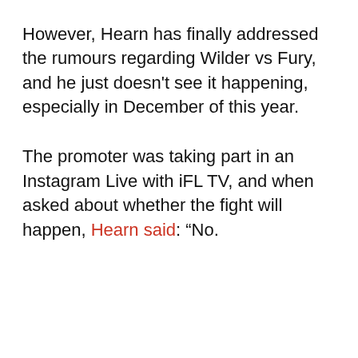However, Hearn has finally addressed the rumours regarding Wilder vs Fury, and he just doesn't see it happening, especially in December of this year.
The promoter was taking part in an Instagram Live with iFL TV, and when asked about whether the fight will happen, Hearn said: “No.